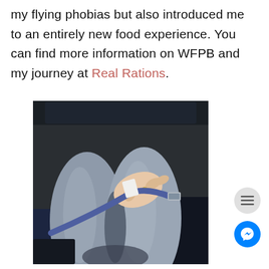my flying phobias but also introduced me to an entirely new food experience. You can find more information on WFPB and my journey at Real Rations.
[Figure (photo): Person sitting in an airplane seat, wearing grey pants, fastening or adjusting a blue airplane seatbelt with one hand. The seat and dark blue carpet are visible in the background.]